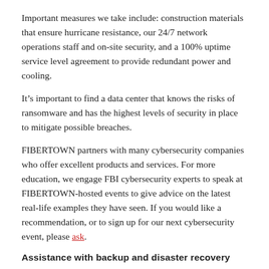Important measures we take include: construction materials that ensure hurricane resistance, our 24/7 network operations staff and on-site security, and a 100% uptime service level agreement to provide redundant power and cooling.
It’s important to find a data center that knows the risks of ransomware and has the highest levels of security in place to mitigate possible breaches.
FIBERTOWN partners with many cybersecurity companies who offer excellent products and services. For more education, we engage FBI cybersecurity experts to speak at FIBERTOWN-hosted events to give advice on the latest real-life examples they have seen. If you would like a recommendation, or to sign up for our next cybersecurity event, please ask.
Assistance with backup and disaster recovery
At FIBERTOWN, we want to help make digital security less of an issue for customers.